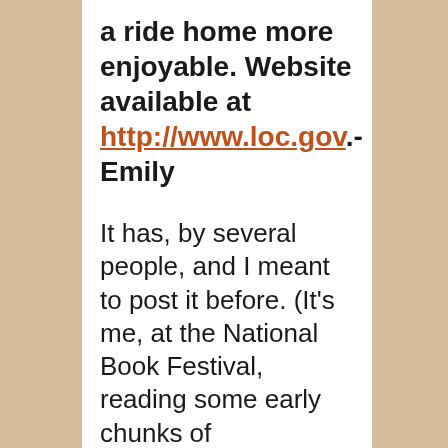a ride home more enjoyable. Website available at http://www.loc.gov.- Emily
It has, by several people, and I meant to post it before. (It's me, at the National Book Festival, reading some early chunks of